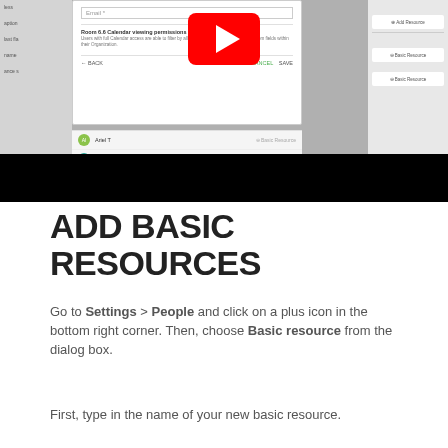[Figure (screenshot): Screenshot of a settings/people dialog box with email field, calendar viewing permissions option, and a YouTube play button overlay. Two rows showing people (Ariel T and Ruth Rose) visible below the dialog. Right panel with resource buttons. Black bar at bottom.]
ADD BASIC RESOURCES
Go to Settings > People and click on a plus icon in the bottom right corner. Then, choose Basic resource from the dialog box.
First, type in the name of your new basic resource.